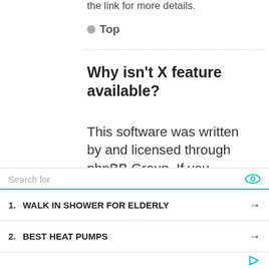the link for more details.
Top
Why isn't X feature available?
This software was written by and licensed through phpBB Group. If you believe a feature needs to be added, please visit the phpbb.com website and see what phpBB Group have to say. Please do not post feature requests to the
1. WALK IN SHOWER FOR ELDERLY
2. BEST HEAT PUMPS